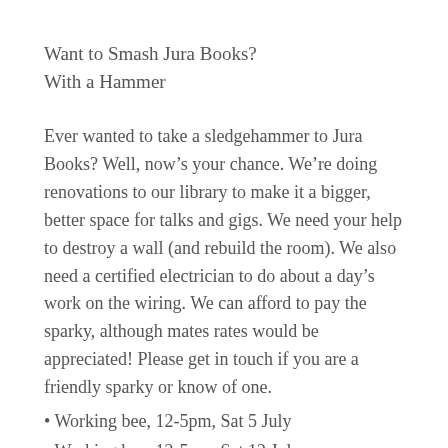Want to Smash Jura Books?
With a Hammer
Ever wanted to take a sledgehammer to Jura Books? Well, now’s your chance. We’re doing renovations to our library to make it a bigger, better space for talks and gigs. We need your help to destroy a wall (and rebuild the room). We also need a certified electrician to do about a day’s work on the wiring. We can afford to pay the sparky, although mates rates would be appreciated! Please get in touch if you are a friendly sparky or know of one.
• Working bee, 12-5pm, Sat 5 July
• Working bee, 12-5pm, Sat 12 July